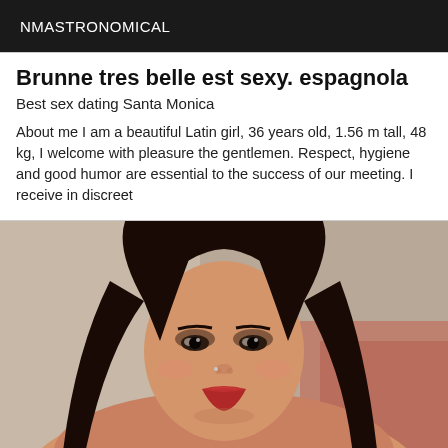NMASTRONOMICAL
Brunne tres belle est sexy. espagnola
Best sex dating Santa Monica
About me I am a beautiful Latin girl, 36 years old, 1.56 m tall, 48 kg, I welcome with pleasure the gentlemen. Respect, hygiene and good humor are essential to the success of our meeting. I receive in discreet
[Figure (photo): Portrait photo of a woman with long dark hair, wearing red lipstick, smiling at the camera]